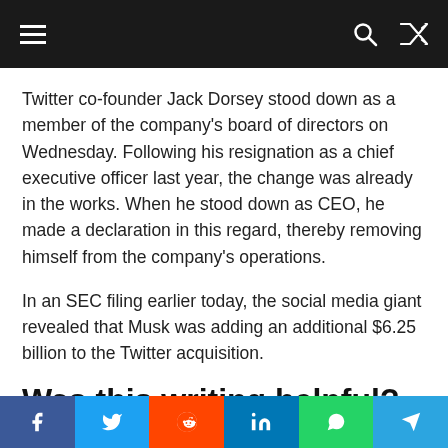Navigation bar with hamburger menu, search, and shuffle icons
Twitter co-founder Jack Dorsey stood down as a member of the company's board of directors on Wednesday. Following his resignation as a chief executive officer last year, the change was already in the works. When he stood down as CEO, he made a declaration in this regard, thereby removing himself from the company's operations.
In an SEC filing earlier today, the social media giant revealed that Musk was adding an additional $6.25 billion to the Twitter acquisition.
Was this writing helpful?
Social share buttons: Facebook, Twitter, Reddit, LinkedIn, WhatsApp, Telegram